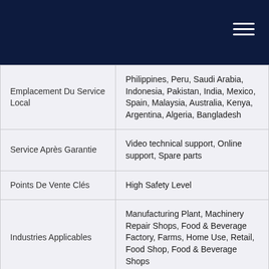| Emplacement Du Service Local | Philippines, Peru, Saudi Arabia, Indonesia, Pakistan, India, Mexico, Spain, Malaysia, Australia, Kenya, Argentina, Algeria, Bangladesh |
| Service Après Garantie | Video technical support, Online support, Spare parts |
| Points De Vente Clés | High Safety Level |
| Industries Applicables | Manufacturing Plant, Machinery Repair Shops, Food & Beverage Factory, Farms, Home Use, Retail, Food Shop, Food & Beverage Shops |
| Couleur | Customer Requirements |